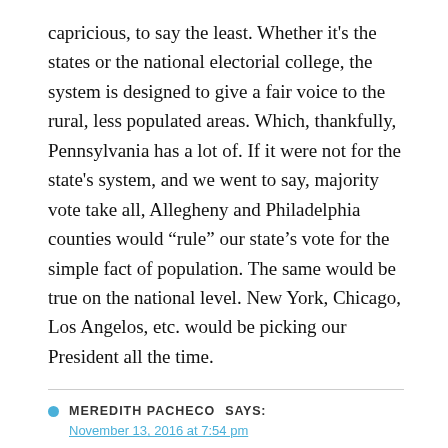capricious, to say the least. Whether it's the states or the national electorial college, the system is designed to give a fair voice to the rural, less populated areas. Which, thankfully, Pennsylvania has a lot of. If it were not for the state's system, and we went to say, majority vote take all, Allegheny and Philadelphia counties would “rule” our state's vote for the simple fact of population. The same would be true on the national level. New York, Chicago, Los Angelos, etc. would be picking our President all the time.
MEREDITH PACHECO SAYS:
November 13, 2016 at 7:54 pm
Dec 19 State Electors can flip their vote to HRC! This is